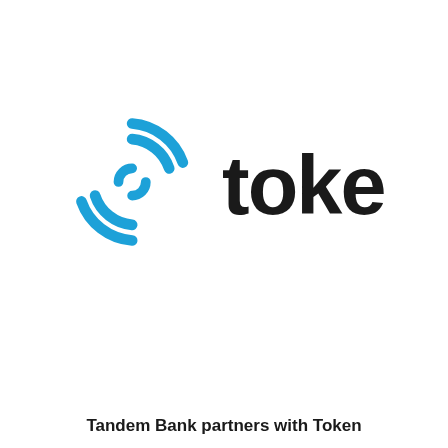[Figure (logo): Token logo: a blue circular swirl/signal icon on the left and the word 'token' in dark bold sans-serif text on the right]
Tandem Bank partners with Token